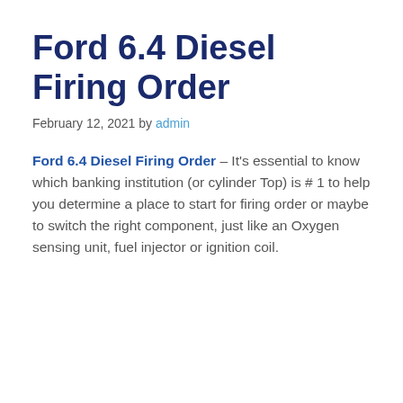Ford 6.4 Diesel Firing Order
February 12, 2021 by admin
Ford 6.4 Diesel Firing Order – It's essential to know which banking institution (or cylinder Top) is # 1 to help you determine a place to start for firing order or maybe to switch the right component, just like an Oxygen sensing unit, fuel injector or ignition coil.